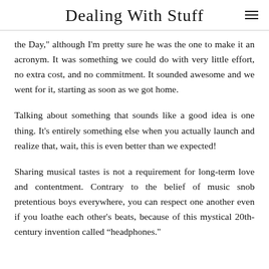Dealing With Stuff
the Day," although I'm pretty sure he was the one to make it an acronym. It was something we could do with very little effort, no extra cost, and no commitment. It sounded awesome and we went for it, starting as soon as we got home.
Talking about something that sounds like a good idea is one thing. It's entirely something else when you actually launch and realize that, wait, this is even better than we expected!
Sharing musical tastes is not a requirement for long-term love and contentment. Contrary to the belief of music snob pretentious boys everywhere, you can respect one another even if you loathe each other's beats, because of this mystical 20th-century invention called “headphones."